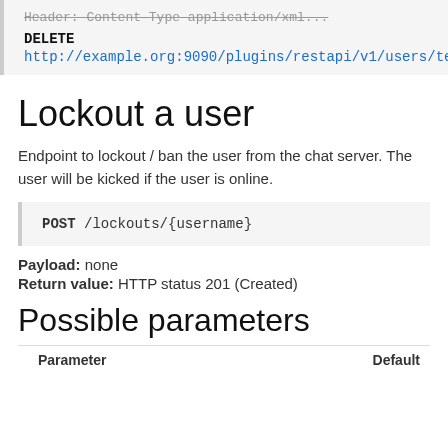DELETE
http://example.org:9090/plugins/restapi/v1/users/testuser/groups/
Lockout a user
Endpoint to lockout / ban the user from the chat server. The user will be kicked if the user is online.
POST /lockouts/{username}
Payload: none
Return value: HTTP status 201 (Created)
Possible parameters
| Parameter | Default |
| --- | --- |